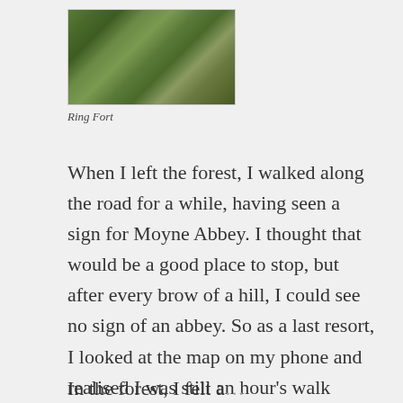[Figure (photo): Aerial or close-up view of a ring fort showing grassy and earthy ground texture]
Ring Fort
When I left the forest, I walked along the road for a while, having seen a sign for Moyne Abbey. I thought that would be a good place to stop, but after every brow of a hill, I could see no sign of an abbey. So as a last resort, I looked at the map on my phone and realised I was still an hour’s walk away. I went back to the forest, again saying hello to the cows and the bulls and the donkey and standing well to the side of the road when a tractor appeared.
In the forest, I felt a good different to the until I